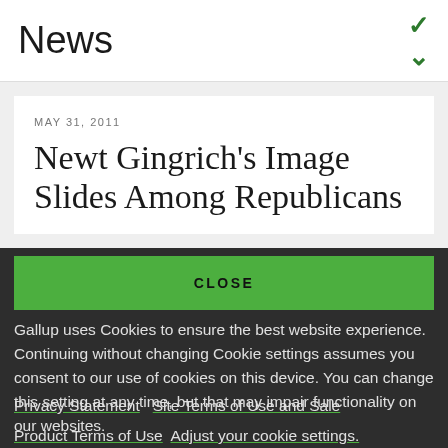News
MAY 31, 2011
Newt Gingrich's Image Slides Among Republicans
CLOSE
Gallup uses Cookies to ensure the best website experience. Continuing without changing Cookie settings assumes you consent to our use of cookies on this device. You can change this setting at any time, but that may impair functionality on our websites.
Privacy Statement   Site Terms of Use and Sale
Product Terms of Use   Adjust your cookie settings.